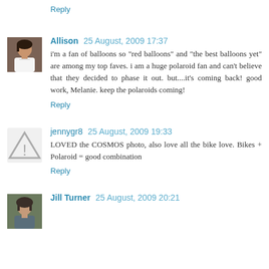Reply
Allison 25 August, 2009 17:37
i'm a fan of balloons so "red balloons" and "the best balloons yet" are among my top faves. i am a huge polaroid fan and can't believe that they decided to phase it out. but....it's coming back! good work, Melanie. keep the polaroids coming!
Reply
jennygr8 25 August, 2009 19:33
LOVED the COSMOS photo, also love all the bike love. Bikes + Polaroid = good combination
Reply
Jill Turner 25 August, 2009 20:21